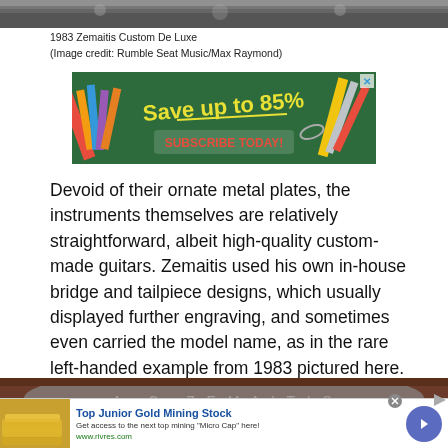[Figure (photo): Top portion of a guitar or musical instrument, cropped, dark tones]
1983 Zemaitis Custom De Luxe
(Image credit: Rumble Seat Music/Max Raymond)
[Figure (screenshot): Advertisement banner: 'Save up to 85% SUBSCRIBE TODAY!' with school supplies on a chalkboard background]
Devoid of their ornate metal plates, the instruments themselves are relatively straightforward, albeit high-quality custom-made guitars. Zemaitis used his own in-house bridge and tailpiece designs, which usually displayed further engraving, and sometimes even carried the model name, as in the rare left-handed example from 1983 pictured here.
[Figure (photo): Close-up of a dark metal guitar plate with engraving]
[Figure (screenshot): Bottom advertisement: 'Top Junior Gold Mining Stock - Get access to the next top mining Micro Cap here! www.rivres.com' with gold bar image and blue arrow button]